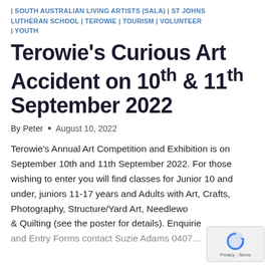| SOUTH AUSTRALIAN LIVING ARTISTS (SALA) | ST JOHNS LUTHERAN SCHOOL | TEROWIE | TOURISM | VOLUNTEER | YOUTH
Terowie's Curious Art Accident on 10th & 11th September 2022
By Peter • August 10, 2022
Terowie's Annual Art Competition and Exhibition is on September 10th and 11th September 2022. For those wishing to enter you will find classes for Junior 10 and under, juniors 11-17 years and Adults with Art, Crafts, Photography, Structure/Yard Art, Needlework & Quilting (see the poster for details). Enquiries and Entry Forms contact Suzie Adams 0407...